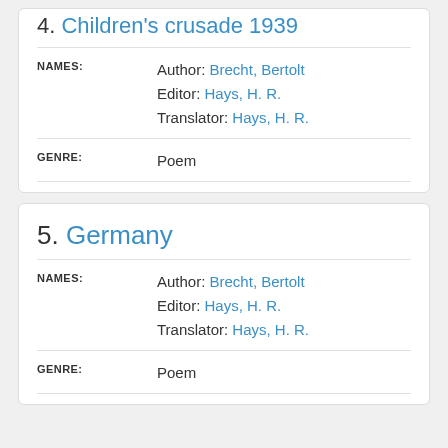4. Children's crusade 1939
NAMES: Author: Brecht, Bertolt | Editor: Hays, H. R. | Translator: Hays, H. R.
GENRE: Poem
5. Germany
NAMES: Author: Brecht, Bertolt | Editor: Hays, H. R. | Translator: Hays, H. R.
GENRE: Poem